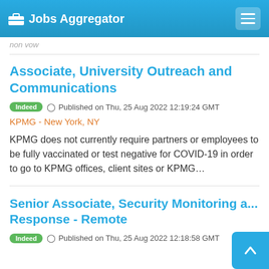Jobs Aggregator
...
Associate, University Outreach and Communications
Indeed  Published on Thu, 25 Aug 2022 12:19:24 GMT
KPMG - New York, NY
KPMG does not currently require partners or employees to be fully vaccinated or test negative for COVID-19 in order to go to KPMG offices, client sites or KPMG…
Senior Associate, Security Monitoring and Response - Remote
Indeed  Published on Thu, 25 Aug 2022 12:18:58 GMT